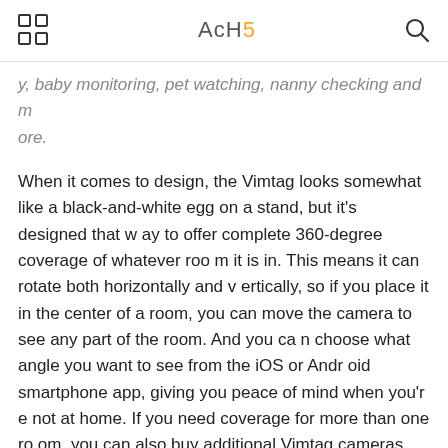AcH5
y, baby monitoring, pet watching, nanny checking and more.
When it comes to design, the Vimtag looks somewhat like a black-and-white egg on a stand, but it's designed that way to offer complete 360-degree coverage of whatever room it is in. This means it can rotate both horizontally and vertically, so if you place it in the center of a room, you can move the camera to see any part of the room. And you can choose what angle you want to see from the iOS or Android smartphone app, giving you peace of mind when you're not at home. If you need coverage for more than one room, you can also buy additional Vimtag cameras and use all of them in tandem.